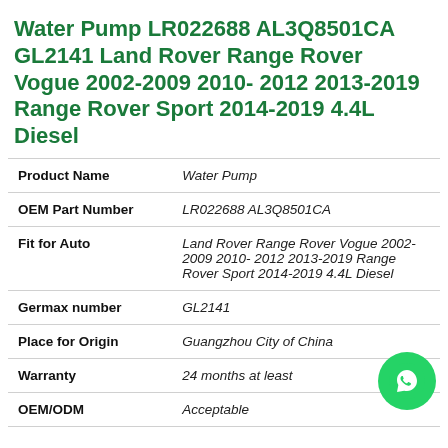Water Pump LR022688 AL3Q8501CA GL2141 Land Rover Range Rover Vogue 2002-2009 2010- 2012 2013-2019 Range Rover Sport 2014-2019 4.4L Diesel
| Attribute | Value |
| --- | --- |
| Product Name | Water Pump |
| OEM Part Number | LR022688 AL3Q8501CA |
| Fit for Auto | Land Rover Range Rover Vogue 2002-2009 2010- 2012 2013-2019 Range Rover Sport 2014-2019 4.4L Diesel |
| Germax number | GL2141 |
| Place for Origin | Guangzhou City of China |
| Warranty | 24 months at least |
| OEM/ODM | Acceptable |